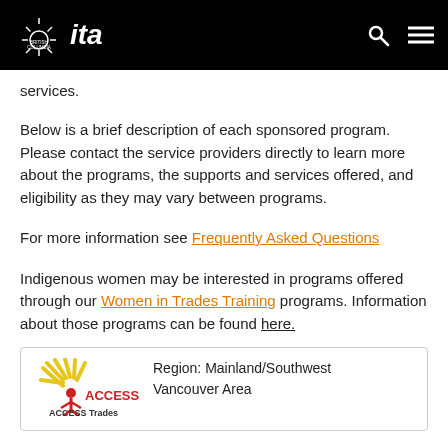British Columbia ITA
services.
Below is a brief description of each sponsored program.  Please contact the service providers directly to learn more about the programs, the supports and services offered, and eligibility as they may vary between programs.
For more information see Frequently Asked Questions
Indigenous women may be interested in programs offered through our Women in Trades Training programs.  Information about those programs can be found here.
[Figure (logo): ACCESS Trades logo with stylized figure]
Region: Mainland/Southwest Vancouver Area